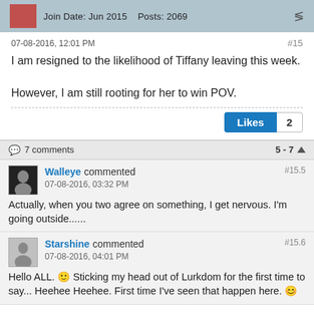Join Date: Jun 2015   Posts: 2069
07-08-2016, 12:01 PM
#15
I am resigned to the likelihood of Tiffany leaving this week.

However, I am still rooting for her to win POV.
Likes 2
7 comments   5-7
Walleye commented
07-08-2016, 03:32 PM
#15.5

Actually, when you two agree on something, I get nervous. I'm going outside......
Starshine commented
07-08-2016, 04:01 PM
#15.6

Hello ALL. 🙂 Sticking my head out of Lurkdom for the first time to say... Heehee Heehee. First time I've seen that happen here. 😊